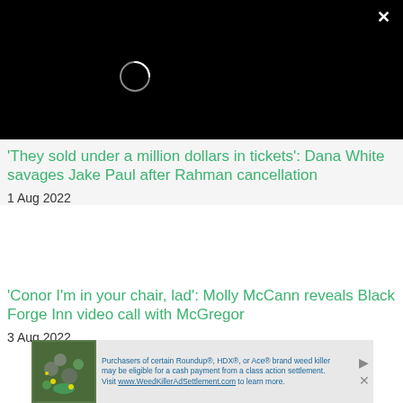[Figure (other): Black video player area with loading spinner circle and close (×) button in top right corner]
'They sold under a million dollars in tickets': Dana White savages Jake Paul after Rahman cancellation
1 Aug 2022
'Conor I'm in your chair, lad': Molly McCann reveals Black Forge Inn video call with McGregor
3 Aug 2022
[Figure (other): Advertisement banner: Purchasers of certain Roundup®, HDX®, or Ace® brand weed killer may be eligible for a cash payment from a class action settlement. Visit www.WeedKillerAdSettlement.com to learn more.]